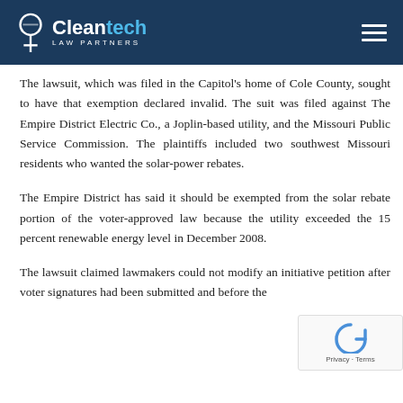Cleantech Law Partners
The lawsuit, which was filed in the Capitol's home of Cole County, sought to have that exemption declared invalid. The suit was filed against The Empire District Electric Co., a Joplin-based utility, and the Missouri Public Service Commission. The plaintiffs included two southwest Missouri residents who wanted the solar-power rebates.
The Empire District has said it should be exempted from the solar rebate portion of the voter-approved law because the utility exceeded the 15 percent renewable energy level in December 2008.
The lawsuit claimed lawmakers could not modify an initiative petition after voter signatures had been submitted and before the